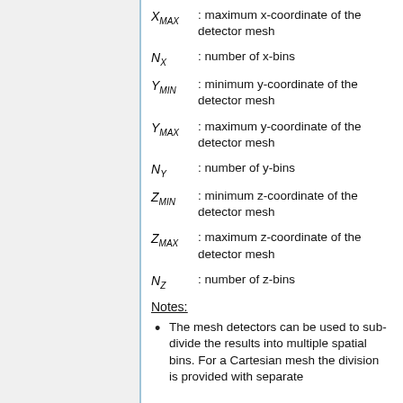X_MAX : maximum x-coordinate of the detector mesh
N_X : number of x-bins
Y_MIN : minimum y-coordinate of the detector mesh
Y_MAX : maximum y-coordinate of the detector mesh
N_Y : number of y-bins
Z_MIN : minimum z-coordinate of the detector mesh
Z_MAX : maximum z-coordinate of the detector mesh
N_Z : number of z-bins
Notes:
The mesh detectors can be used to sub-divide the results into multiple spatial bins. For a Cartesian mesh the division is provided with separate